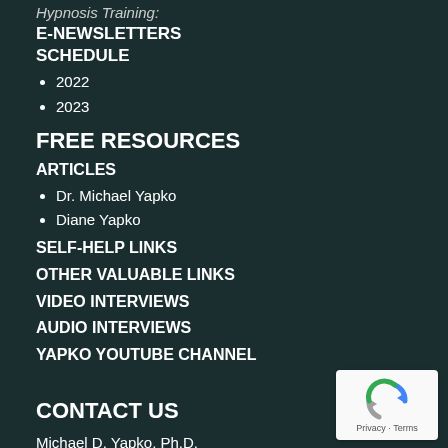Hypnosis Training:
E-NEWSLETTERS SCHEDULE
2022
2023
FREE RESOURCES
ARTICLES
Dr. Michael Yapko
Diane Yapko
SELF-HELP LINKS
OTHER VALUABLE LINKS
VIDEO INTERVIEWS
AUDIO INTERVIEWS
YAPKO YOUTUBE CHANNEL
CONTACT US
Michael D. Yapko, Ph.D.
PO Box 487
Fallbrook, CA 92088-0487
+1 (760) 402-9100